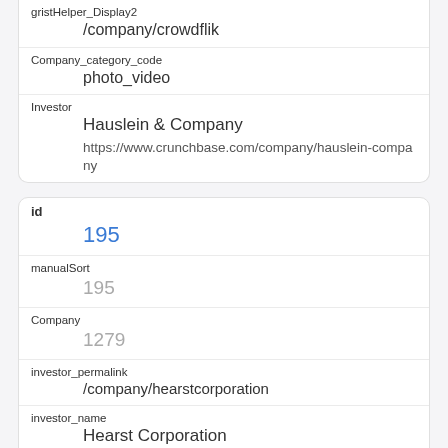gristHelper_Display2
/company/crowdflik
Company_category_code
photo_video
Investor
Hauslein & Company
https://www.crunchbase.com/company/hauslein-company
id
195
manualSort
195
Company
1279
investor_permalink
/company/hearstcorporation
investor_name
Hearst Corporation
investor_category_code